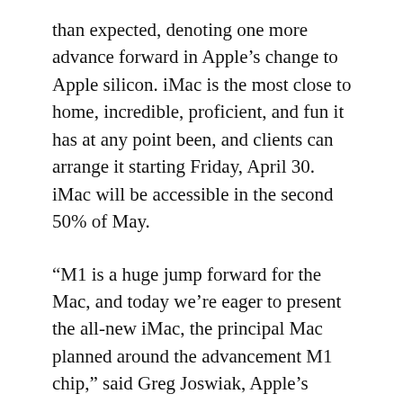than expected, denoting one more advance forward in Apple’s change to Apple silicon. iMac is the most close to home, incredible, proficient, and fun it has at any point been, and clients can arrange it starting Friday, April 30. iMac will be accessible in the second 50% of May.
“M1 is a huge jump forward for the Mac, and today we’re eager to present the all-new iMac, the principal Mac planned around the advancement M1 chip,” said Greg Joswiak, Apple’s senior VP of Worldwide Marketing. “With its striking plan in seven shocking tones, its vivid 4.5K Retina show, the best camera, mics, and speakers ever in a Mac, and